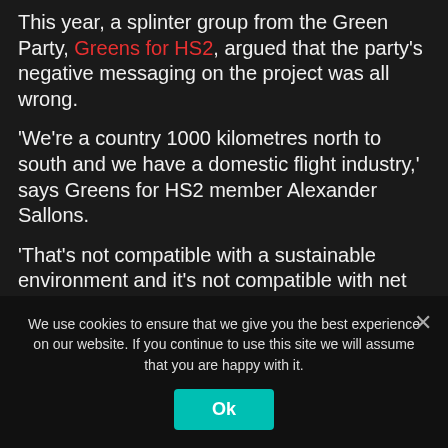This year, a splinter group from the Green Party, Greens for HS2, argued that the party's negative messaging on the project was all wrong.
'We're a country 1000 kilometres north to south and we have a domestic flight industry,' says Greens for HS2 member Alexander Sallons.
'That's not compatible with a sustainable environment and it's not compatible with net zero greenhouse gas emissions.
'We need high speed rail to replace that.'
The protesters' energy, the group suggests, would be better spent elsewhere, like against the
We use cookies to ensure that we give you the best experience on our website. If you continue to use this site we will assume that you are happy with it.